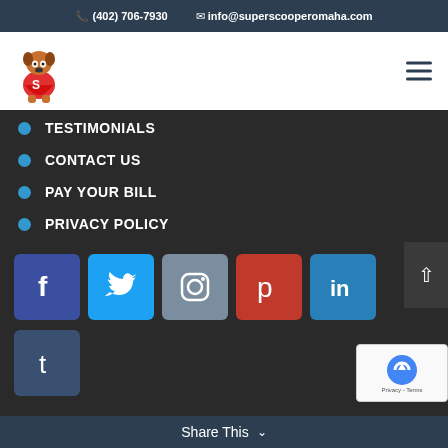(402) 706-7930  info@superscooperomaha.com
[Figure (logo): Super Scooper Omaha cartoon dog superhero logo]
TESTIMONIALS
CONTACT US
PAY YOUR BILL
PRIVACY POLICY
[Figure (infographic): Social media icon buttons: Facebook, Twitter, Instagram, Pinterest, LinkedIn, Tumblr]
Share This